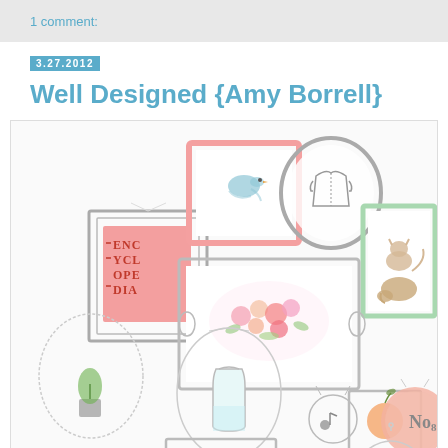1 comment:
3.27.2012
Well Designed {Amy Borrell}
[Figure (illustration): Watercolor illustration of a gallery wall featuring framed artwork including: a pink frame with a bird, a gray oval frame with a jacket/shirt, a gray rectangular frame with 'ENCYCLOPEDIA' text on pink background, a large gray frame with floral arrangement, a mint green frame with stacked animals, a small oval frame with a potted plant, an oval frame with a milk bottle, a small circular frame with a music note, a gray rectangular frame with an orange/peach fruit, a pink circular frame with 'No.8' text, and partial frames at the bottom.]